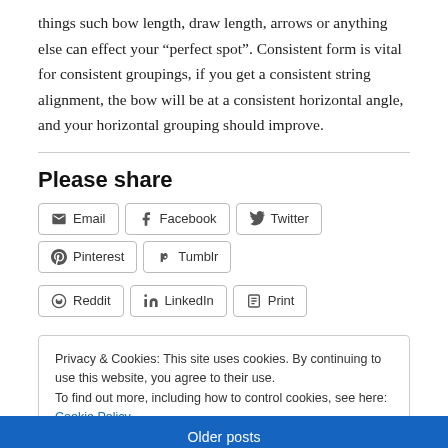things such bow length, draw length, arrows or anything else can effect your “perfect spot”. Consistent form is vital for consistent groupings, if you get a consistent string alignment, the bow will be at a consistent horizontal angle, and your horizontal grouping should improve.
Please share
Email
Facebook
Twitter
Pinterest
Tumblr
Reddit
LinkedIn
Print
Privacy & Cookies: This site uses cookies. By continuing to use this website, you agree to their use.
To find out more, including how to control cookies, see here: Cookie Policy
Close and accept
Older posts